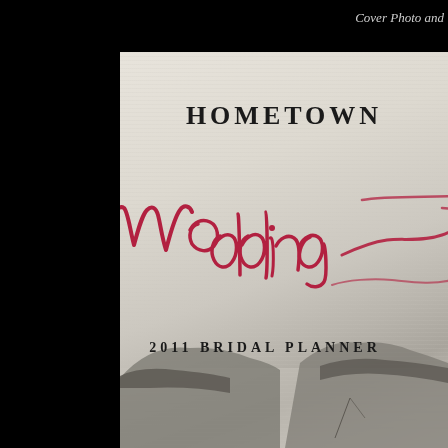Cover Photo and
[Figure (photo): Cover of Hometown Wedding 2011 Bridal Planner magazine/booklet. Light grey-white linen textured background with mountain/island silhouette visible at the bottom. 'HOMETOWN' in bold serif capitals, 'Wedding' in large red cursive script, '2011 BRIDAL PLANNER' in small spaced serif capitals.]
HOMETOWN Wedding 2011 BRIDAL PLANNER